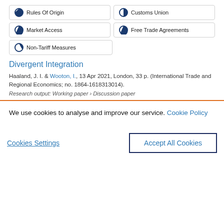Rules Of Origin
Customs Union
Market Access
Free Trade Agreements
Non-Tariff Measures
Divergent Integration
Haaland, J. I. & Wooton, I., 13 Apr 2021, London, 33 p. (International Trade and Regional Economics; no. 1864-1618313014).
Research output: Working paper › Discussion paper
We use cookies to analyse and improve our service. Cookie Policy
Cookies Settings
Accept All Cookies